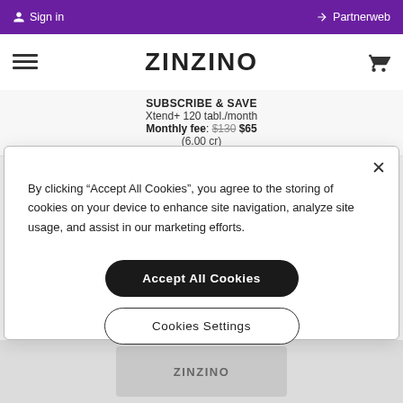Sign in   Partnerweb
[Figure (logo): Zinzino logo with hamburger menu and cart icon]
SUBSCRIBE & SAVE
Xtend+ 120 tabl./month
Monthly fee: $130 $65
(6.00 cr)
By clicking “Accept All Cookies”, you agree to the storing of cookies on your device to enhance site navigation, analyze site usage, and assist in our marketing efforts.
Accept All Cookies
Cookies Settings
[Figure (screenshot): Zinzino product thumbnail at bottom of page]